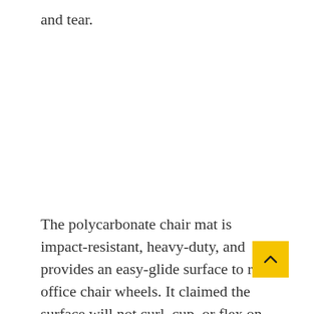and tear.
The polycarbonate chair mat is impact-resistant, heavy-duty, and provides an easy-glide surface to roll office chair wheels. It claimed the surface will not curl, cup, or flex on hard floor surfaces.